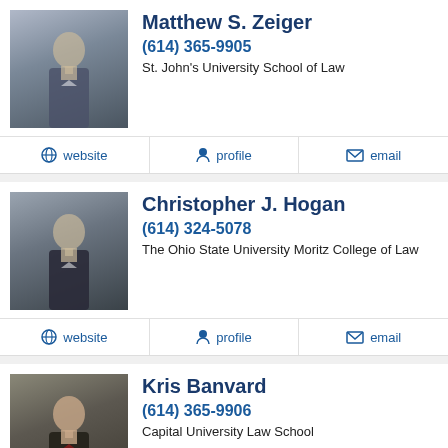[Figure (photo): Headshot photo of Matthew S. Zeiger, man in suit]
Matthew S. Zeiger
(614) 365-9905
St. John's University School of Law
website  profile  email
[Figure (photo): Headshot photo of Christopher J. Hogan, man in suit]
Christopher J. Hogan
(614) 324-5078
The Ohio State University Moritz College of Law
website  profile  email
[Figure (photo): Headshot photo of Kris Banvard, man in suit]
Kris Banvard
(614) 365-9906
Capital University Law School
website  profile  email